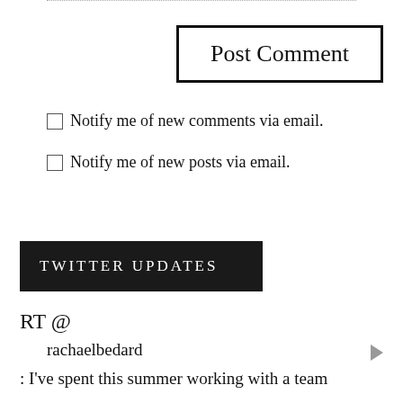[Figure (other): Post Comment button — a large rectangular button with thick black border and text 'Post Comment']
☐ Notify me of new comments via email.
☐ Notify me of new posts via email.
TWITTER UPDATES
RT @
    rachaelbedard
: I've spent this summer working with a team